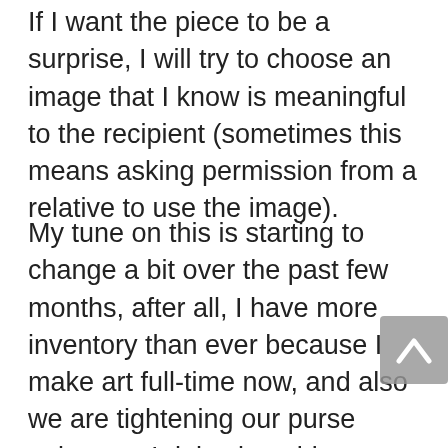If I want the piece to be a surprise, I will try to choose an image that I know is meaningful to the recipient (sometimes this means asking permission from a relative to use the image).
My tune on this is starting to change a bit over the past few months, after all, I have more inventory than ever because I make art full-time now, and also we are tightening our purse strings as I delve into this new business, and I can make something meaningful and amazing for the cost of the art supplies. And I guess to be fair, I've never had anything but complete gratitude and joy when I have gifted someone a piece of my